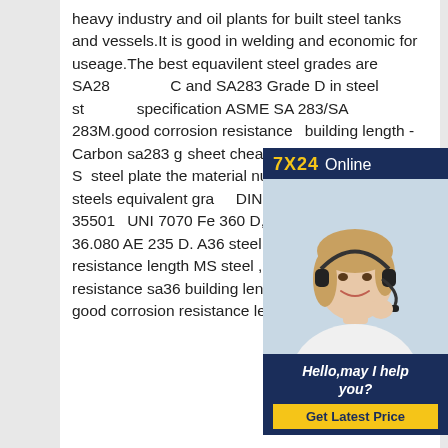heavy industry and oil plants for built steel tanks and vessels.It is good in welding and economic for useage.The best equavilent steel grades are SA283 Grade C and SA283 Grade D in steel standard specification ASME SA 283/SA 283M.good corrosion resistance s building length - Carbon sa283 gr sheet cheap materialEN10025 S2 steel plate the material number is S235JRG3 steels equivalent grade DIN 17100 St 373 N, NFA 35501 UNI 7070 Fe 360 D, BS 4360 40 D, ONE 36.080 AE 235 D. A36 steel plate good corrosion resistance length MS steel , good corrosion resistance sa36 building length A36 steel plate good corrosion resistance length .
[Figure (other): Online chat advertisement box with '7X24 Online' header in gold and navy, photo of a woman with a headset, and 'Hello,may I help you?' text with a 'Get Latest Price' yellow button.]